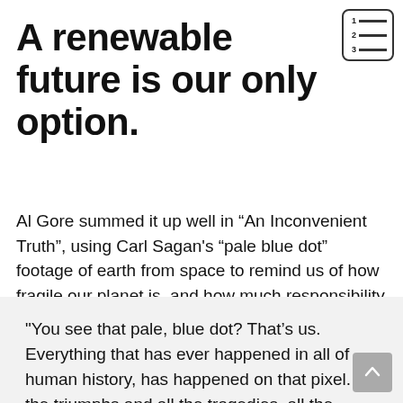[Figure (other): Table of contents icon with numbers 1, 2, 3 and horizontal lines, in a rounded rectangle border]
A renewable future is our only option.
Al Gore summed it up well in “An Inconvenient Truth”, using Carl Sagan's “pale blue dot” footage of earth from space to remind us of how fragile our planet is, and how much responsibility we each hold to protect it.
“You see that pale, blue dot? That’s us. Everything that has ever happened in all of human history, has happened on that pixel. All the triumphs and all the tragedies, all the wars, all the famines, all the major advances…it’s our only home. And that